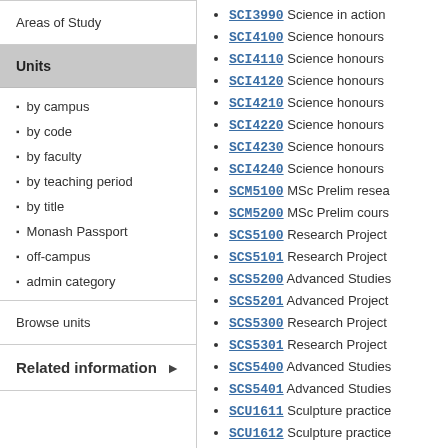Areas of Study
Units
by campus
by code
by faculty
by teaching period
by title
Monash Passport
off-campus
admin category
Browse units
Related information
SCI3990 Science in action
SCI4100 Science honours
SCI4110 Science honours
SCI4120 Science honours
SCI4210 Science honours
SCI4220 Science honours
SCI4230 Science honours
SCI4240 Science honours
SCM5100 MSc Prelim resea
SCM5200 MSc Prelim cours
SCS5100 Research Project
SCS5101 Research Project
SCS5200 Advanced Studies
SCS5201 Advanced Project
SCS5300 Research Project
SCS5301 Research Project
SCS5400 Advanced Studies
SCS5401 Advanced Studies
SCU1611 Sculpture practice
SCU1612 Sculpture practice
SCU1631 Sculpture practice
SCU1642 Sculpture practice
SCU2613 Sculpture practice
SCU2614 Sculpture practice